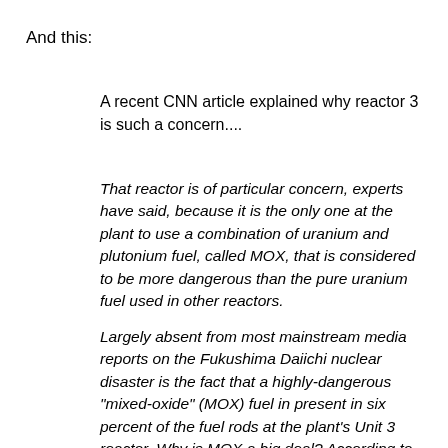And this:
A recent CNN article explained why reactor 3 is such a concern....
That reactor is of particular concern, experts have said, because it is the only one at the plant to use a combination of uranium and plutonium fuel, called MOX, that is considered to be more dangerous than the pure uranium fuel used in other reactors.
Largely absent from most mainstream media reports on the Fukushima Daiichi nuclear disaster is the fact that a highly-dangerous "mixed-oxide" (MOX) fuel in present in six percent of the fuel rods at the plant's Unit 3 reactor. Why is MOX a big deal? According to the Nuclear Information Resource Center (NIRS), this plutonium-uranium fuel is intensely for more dangerous than the standard...